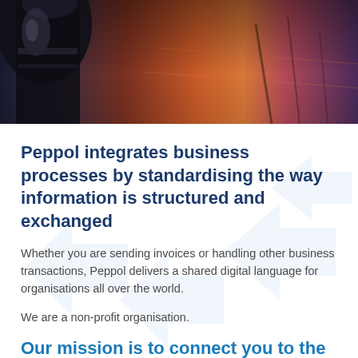[Figure (photo): Dark industrial/machinery image (gear or similar object) against a dramatic sunset sky with orange, red, and purple hues]
Peppol integrates business processes by standardising the way information is structured and exchanged
Whether you are sending invoices or handling other business transactions, Peppol delivers a shared digital language for organisations all over the world.
We are a non-profit organisation.
Our mission is to connect you to the